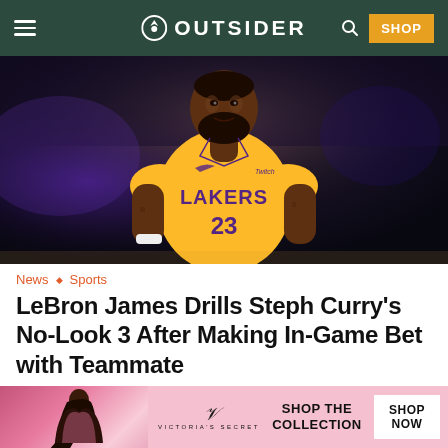OUTSIDER
[Figure (photo): LeBron James wearing Los Angeles Lakers yellow jersey #23 in an arena setting]
News ◇ Sports
LeBron James Drills Steph Curry's No-Look 3 After Making In-Game Bet with Teammate
by Quentin Blount | January 13, 2021
[Figure (other): Victoria's Secret advertisement banner: SHOP THE COLLECTION - SHOP NOW]